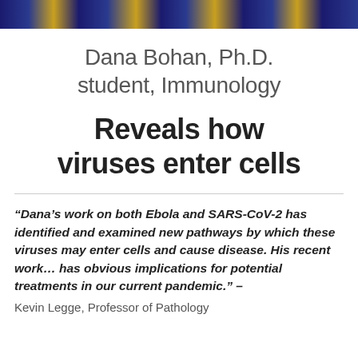[Figure (photo): Tartan/plaid fabric pattern in blue and gold colors, cropped as a horizontal banner at top of page]
Dana Bohan, Ph.D. student, Immunology
Reveals how viruses enter cells
“Dana’s work on both Ebola and SARS-CoV-2 has identified and examined new pathways by which these viruses may enter cells and cause disease. His recent work… has obvious implications for potential treatments in our current pandemic.” – Kevin Legge, Professor of Pathology